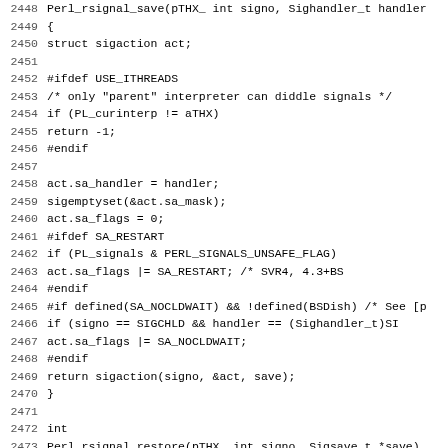[Figure (other): Source code listing in C (Perl internals), lines 2448-2480, showing Perl_rsignal_save and Perl_rsignal_restore functions with sigaction, USE_ITHREADS, SA_RESTART, SA_NOCLDWAIT preprocessor conditionals.]